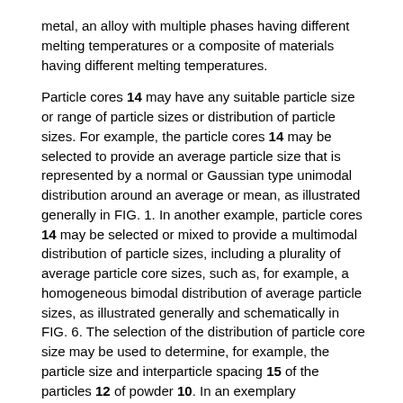metal, an alloy with multiple phases having different melting temperatures or a composite of materials having different melting temperatures.
Particle cores 14 may have any suitable particle size or range of particle sizes or distribution of particle sizes. For example, the particle cores 14 may be selected to provide an average particle size that is represented by a normal or Gaussian type unimodal distribution around an average or mean, as illustrated generally in FIG. 1. In another example, particle cores 14 may be selected or mixed to provide a multimodal distribution of particle sizes, including a plurality of average particle core sizes, such as, for example, a homogeneous bimodal distribution of average particle sizes, as illustrated generally and schematically in FIG. 6. The selection of the distribution of particle core size may be used to determine, for example, the particle size and interparticle spacing 15 of the particles 12 of powder 10. In an exemplary embodiment, the particle cores 14 may have a unimodal distribution and an average particle diameter of about 5 μm to about 300 μm, more particularly about 80 μm to about 120 mm, and even more particularly about 100 μm.